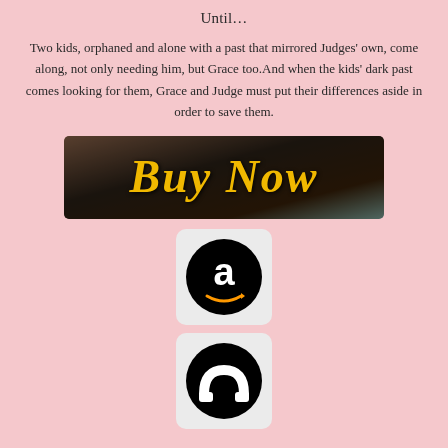Until…
Two kids, orphaned and alone with a past that mirrored Judges' own, come along, not only needing him, but Grace too.And when the kids' dark past comes looking for them, Grace and Judge must put their differences aside in order to save them.
[Figure (illustration): A dark moody banner image with golden cursive script reading 'Buy Now' over a blurred background with warm brown and teal tones.]
[Figure (logo): Amazon shopping logo - white letter 'a' with smile/arrow on black circle, in a light gray rounded rectangle box.]
[Figure (logo): Nook logo - white arch/omega symbol on black circle, in a light gray rounded rectangle box.]